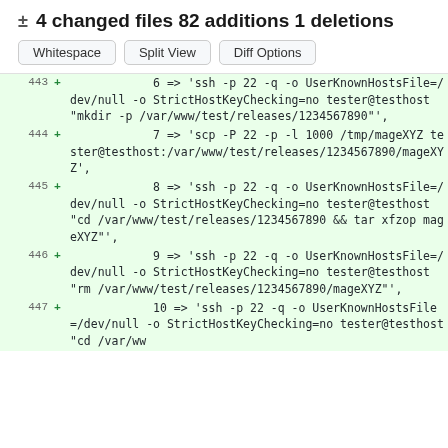± 4 changed files 82 additions 1 deletions
Whitespace  Split View  Diff Options
443  +  6 => 'ssh -p 22 -q -o UserKnownHostsFile=/dev/null -o StrictHostKeyChecking=no tester@testhost "mkdir -p /var/www/test/releases/1234567890"',
444  +  7 => 'scp -P 22 -p -l 1000 /tmp/mageXYZ tester@testhost:/var/www/test/releases/1234567890/mageXYZ',
445  +  8 => 'ssh -p 22 -q -o UserKnownHostsFile=/dev/null -o StrictHostKeyChecking=no tester@testhost "cd /var/www/test/releases/1234567890 && tar xfzop mageXYZ"',
446  +  9 => 'ssh -p 22 -q -o UserKnownHostsFile=/dev/null -o StrictHostKeyChecking=no tester@testhost "rm /var/www/test/releases/1234567890/mageXYZ"',
447  +  10 => 'ssh -p 22 -q -o UserKnownHostsFile=/dev/null -o StrictHostKeyChecking=no tester@testhost "cd /var/ww